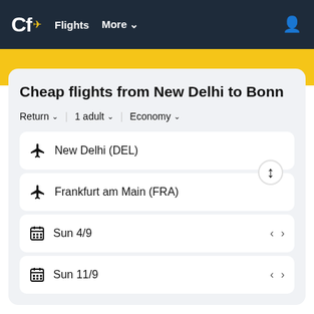Cf Flights More
Cheap flights from New Delhi to Bonn
Return  1 adult  Economy
New Delhi (DEL)
Frankfurt am Main (FRA)
Sun 4/9
Sun 11/9